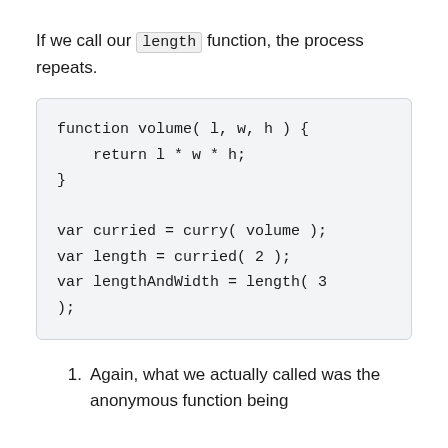If we call our length function, the process repeats.
function volume( l, w, h ) {
    return l * w * h;
}

var curried = curry( volume );
var length = curried( 2 );
var lengthAndWidth = length( 3 );
);
Again, what we actually called was the anonymous function being